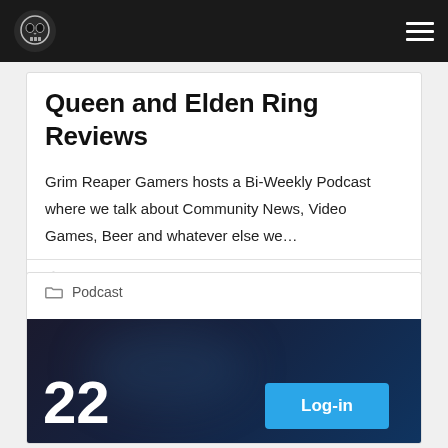Grim Reaper Gamers navigation bar with logo and hamburger menu
Queen and Elden Ring Reviews
Grim Reaper Gamers hosts a Bi-Weekly Podcast where we talk about Community News, Video Games, Beer and whatever else we…
Lala Calamari   2 Comments
Podcast
[Figure (screenshot): Dark background image showing the number 22 in large white text on the left and a blue Log-in button on the right]